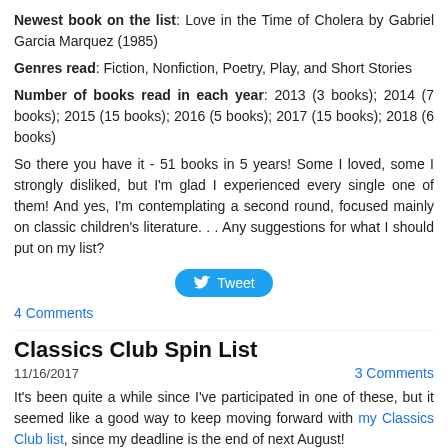Newest book on the list: Love in the Time of Cholera by Gabriel Garcia Marquez (1985)
Genres read: Fiction, Nonfiction, Poetry, Play, and Short Stories
Number of books read in each year: 2013 (3 books); 2014 (7 books); 2015 (15 books); 2016 (5 books); 2017 (15 books); 2018 (6 books)
So there you have it - 51 books in 5 years! Some I loved, some I strongly disliked, but I'm glad I experienced every single one of them! And yes, I'm contemplating a second round, focused mainly on classic children's literature. . . Any suggestions for what I should put on my list?
[Figure (other): Tweet button with Twitter bird icon]
4 Comments
Classics Club Spin List
11/16/2017   3 Comments
It's been quite a while since I've participated in one of these, but it seemed like a good way to keep moving forward with my Classics Club list, since my deadline is the end of next August!